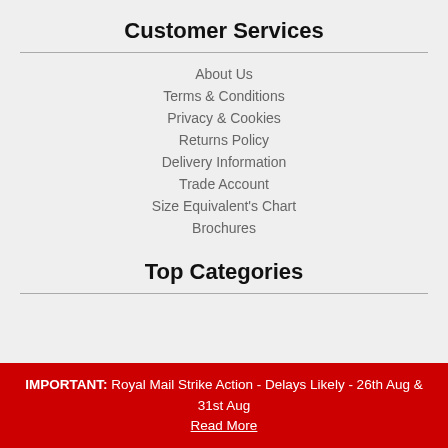Customer Services
About Us
Terms & Conditions
Privacy & Cookies
Returns Policy
Delivery Information
Trade Account
Size Equivalent's Chart
Brochures
Top Categories
IMPORTANT: Royal Mail Strike Action - Delays Likely - 26th Aug & 31st Aug Read More